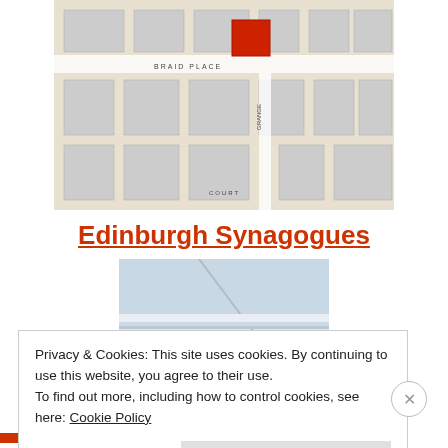[Figure (map): Vintage street map showing Edinburgh area with 'BRAID PLACE' labeled and a red highlighted building footprint indicating a synagogue location. Streets and building plots visible in grey tones.]
Edinburgh Synagogues
[Figure (photo): Interior architectural photo showing ceiling and upper wall details of a synagogue, with columns and decorative moldings visible in light blue/grey tones.]
Privacy & Cookies: This site uses cookies. By continuing to use this website, you agree to their use.
To find out more, including how to control cookies, see here: Cookie Policy